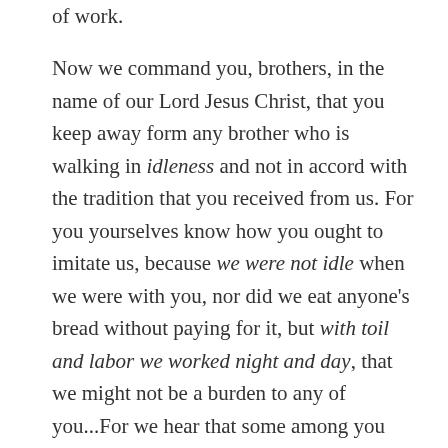of work.
Now we command you, brothers, in the name of our Lord Jesus Christ, that you keep away form any brother who is walking in idleness and not in accord with the tradition that you received from us. For you yourselves know how you ought to imitate us, because we were not idle when we were with you, nor did we eat anyone's bread without paying for it, but with toil and labor we worked night and day, that we might not be a burden to any of you...For we hear that some among you walk in idleness, not busy at work, but busybodies. Now such persons we command and